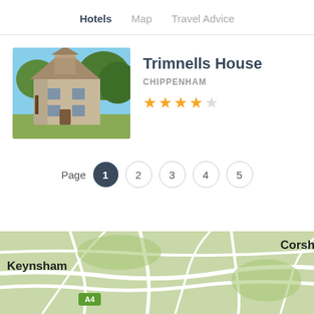Hotels  Map  Travel Advice
[Figure (photo): Stone country house with trees, Trimnells House in Chippenham]
Trimnells House
CHIPPENHAM
[Figure (other): 4 out of 5 star rating shown with gold stars]
Page  1  2  3  4  5
[Figure (map): Road map showing Keynsham, Corsham and surrounding area with A4 road marker]